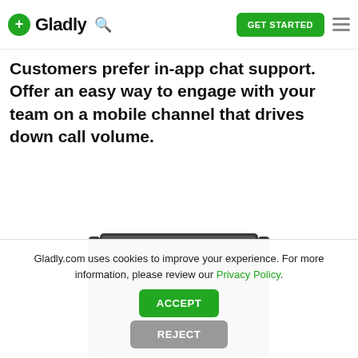Gladly - GET STARTED
Customers prefer in-app chat support. Offer an easy way to engage with your team on a mobile channel that drives down call volume.
[Figure (illustration): A smartphone shown in landscape orientation with a dark screen, representing a mobile chat interface.]
Gladly.com uses cookies to improve your experience. For more information, please review our Privacy Policy.
ACCEPT
REJECT